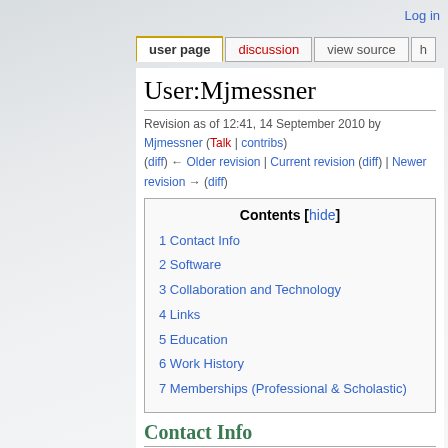Log in
user page | discussion | view source
User:Mjmessner
Revision as of 12:41, 14 September 2010 by Mjmessner (Talk | contribs) (diff) ← Older revision | Current revision (diff) | Newer revision → (diff)
| Contents [hide] |
| --- |
| 1 Contact Info |
| 2 Software |
| 3 Collaboration and Technology |
| 4 Links |
| 5 Education |
| 6 Work History |
| 7 Memberships (Professional & Scholastic) |
Contact Info
Michael (Mike) Messner, Ph.D.
Mathematical Statistician
US Environmental Protection Agency